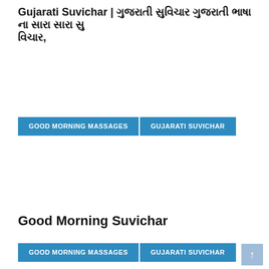Gujarati Suvichar | ગુજરાતી સુવિચાર ગુજરાતી ભાષા ના સારા સારા સુવિચાર,
GOOD MORNING MASSAGES
GUJARATI SUVICHAR
Good Morning Suvichar
GOOD MORNING MASSAGES
GUJARATI SUVICHAR